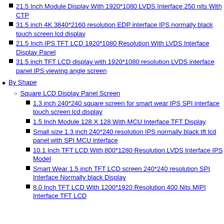21.5 Inch Module Display With 1920*1080 LVDS Interface 250 nits With CTP
31.5 inch 4K 3840*2160 resolution EDP interface IPS normally black touch screen lcd display
21.5 Inch IPS TFT LCD 1920*1080 Resolution With LVDS Interface Display Panel
31.5 inch TFT LCD display with 1920*1080 resolution LVDS interface panel IPS viewing angle screen
By Shape
Square LCD Display Panel Screen
1.3 inch 240*240 square screen for smart wear IPS SPI interface touch screen lcd display
1.5 Inch Module 128 X 128 With MCU Interface TFT Display
Small size 1.3 inch 240*240 resolution IPS normally black tft lcd panel with SPI MCU interface
10.1 Inch TFT LCD With 800*1280 Resolution LVDS Interface IPS ModeI
Smart Wear 1.5 inch TFT LCD screen 240*240 resolution SPI Interface Normally black Display
8.0 Inch TFT LCD With 1200*1920 Resolution 400 Nits MIPI Interface TFT LCD